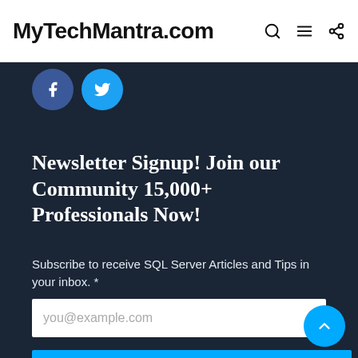MyTechMantra.com
[Figure (illustration): Facebook and Twitter social share circular buttons on dark background]
Newsletter Signup! Join our Community 15,000+ Professionals Now!
Subscribe to receive SQL Server Articles and Tips in your inbox. *
you@example.com
JOIN MYTECHMANTRA.COM